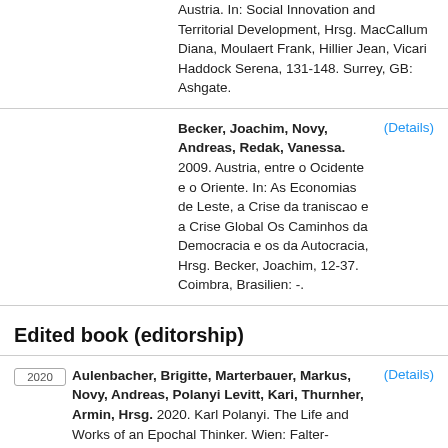Austria. In: Social Innovation and Territorial Development, Hrsg. MacCallum Diana, Moulaert Frank, Hillier Jean, Vicari Haddock Serena, 131-148. Surrey, GB: Ashgate.
Becker, Joachim, Novy, Andreas, Redak, Vanessa. 2009. Austria, entre o Ocidente e o Oriente. In: As Economias de Leste, a Crise da traniscao e a Crise Global Os Caminhos da Democracia e os da Autocracia, Hrsg. Becker, Joachim, 12-37. Coimbra, Brasilien: -. (Details)
Edited book (editorship)
Aulenbacher, Brigitte, Marterbauer, Markus, Novy, Andreas, Polanyi Levitt, Kari, Thurnher, Armin, Hrsg. 2020. Karl Polanyi. The Life and Works of an Epochal Thinker. Wien: Falter-Verlag. (Details)
Aulenbacher, Brigitte , Marterbauer, (Details)